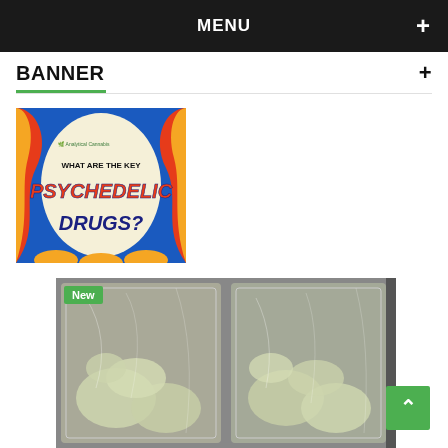MENU
BANNER
[Figure (illustration): Colorful promotional image with text 'WHAT ARE THE KEY PSYCHEDELIC DRUGS?' with bold orange and blue lettering, Analytical Cannabis logo, on a cream background with blue and red/orange swirls]
[Figure (photo): Photo of two clear plastic bags containing white/light green powdery or crystalline substance, with a green 'New' badge overlay in the top-left corner]